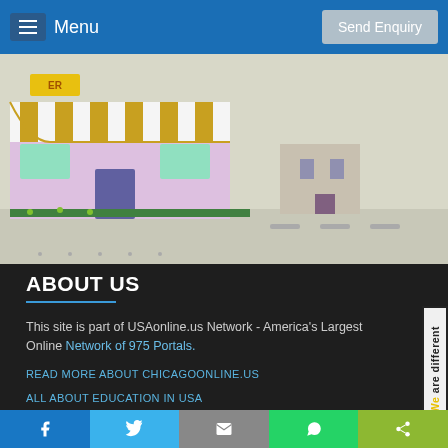Menu   Send Enquiry
[Figure (illustration): Cartoon illustration of a colorful burger/diner shop storefront with striped awning on a light beige background]
ABOUT US
This site is part of USAonline.us Network - America's Largest Online Network of 975 Portals.
READ MORE ABOUT CHICAGOONLINE.US
ALL ABOUT EDUCATION IN USA
[Figure (infographic): Vertical side badge reading 'We are different' in rotated text with yellow and dark coloring, bordered box on right edge]
USEFUL LINKS
Facebook  Twitter  Email  WhatsApp  Share